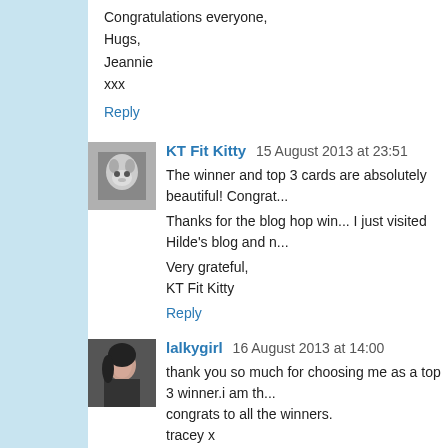Congratulations everyone,
Hugs,
Jeannie
xxx
Reply
KT Fit Kitty  15 August 2013 at 23:51
The winner and top 3 cards are absolutely beautiful! Congrat...
Thanks for the blog hop win... I just visited Hilde's blog and n...
Very grateful,
KT Fit Kitty
Reply
lalkygirl  16 August 2013 at 14:00
thank you so much for choosing me as a top 3 winner.i am th...
congrats to all the winners.
tracey x
Reply